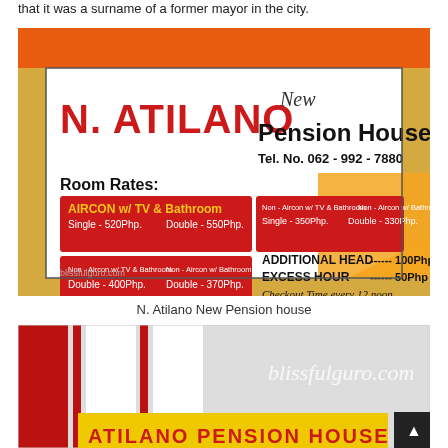that it was a surname of a former mayor in the city.
[Figure (photo): Photo of N. Atilano New Pension House sign showing room rates, aircon with TV and bathroom rates, additional head and excess hour charges, checkout time, Tel. No. 062-992-7880]
N. Atilano New Pension house
[Figure (photo): Partial photo of another Atilano Pension House sign with blissfulguro.com watermark and red/white tiled wall background]